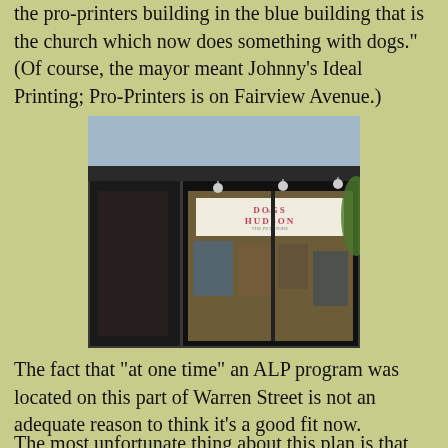the pro-printers building in the blue building that is the church which now does something with dogs." (Of course, the mayor meant Johnny's Ideal Printing; Pro-Printers is on Fairview Avenue.)
[Figure (photo): Storefront of 'Dogs of Hudson' shop with large display window showing art/merchandise, set in a dark-painted building facade.]
The fact that "at one time" an ALP program was located on this part of Warren Street is not an adequate reason to think it's a good fit now. "At one time," many of the storefronts on Warren Street were used for low-income housing, and that's certainly not something anyone who cares about the economic viability of Hudson wants to see happen again.
The most unfortunate thing about this plan is that the basic